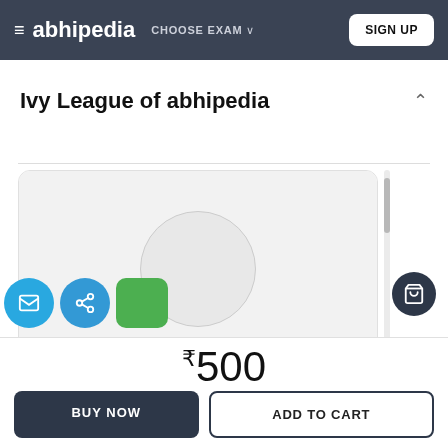≡ abhipedia  CHOOSE EXAM ∨  SIGN UP
Ivy League of abhipedia
[Figure (photo): Profile card with circular avatar placeholder for instructor Simranpreet Kaur]
Simranpreet Kaur
₹500
BUY NOW   ADD TO CART